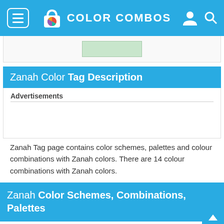COLOR COMBOS
[Figure (screenshot): Partial content card with a light green rectangle visible at top]
Zanah Color Tag Description
Advertisements
Zanah Tag page contains color schemes, palettes and colour combinations with Zanah colors. There are 14 colour combinations with Zanah colors.
Zanah Color Schemes, Combinations, Palettes
ColorCombo2196